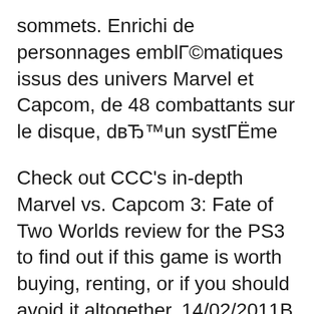sommets. Enrichi de personnages emblématiques issus des univers Marvel et Capcom, de 48 combattants sur le disque, d'un système
Check out CCC's in-depth Marvel vs. Capcom 3: Fate of Two Worlds review for the PS3 to find out if this game is worth buying, renting, or if you should avoid it altogether. 14/02/2011В В· IGN gives its video review of Marvel vs Capcom 3: Fate of Two Worlds. The all star comic fighting game brawl is here, but can it live up to its famous legacy?
Find helpful customer reviews and review ratings for Marvel vs. Capcom 3: Fate of Two Worlds: Special Edition